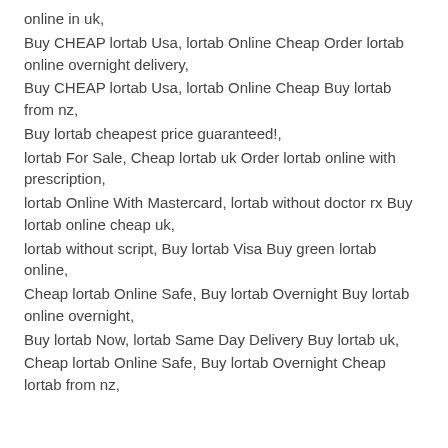online in uk,
Buy CHEAP lortab Usa, lortab Online Cheap Order lortab online overnight delivery,
Buy CHEAP lortab Usa, lortab Online Cheap Buy lortab from nz,
Buy lortab cheapest price guaranteed!,
lortab For Sale, Cheap lortab uk Order lortab online with prescription,
lortab Online With Mastercard, lortab without doctor rx Buy lortab online cheap uk,
lortab without script, Buy lortab Visa Buy green lortab online,
Cheap lortab Online Safe, Buy lortab Overnight Buy lortab online overnight,
Buy lortab Now, lortab Same Day Delivery Buy lortab uk,
Cheap lortab Online Safe, Buy lortab Overnight Cheap lortab from nz,